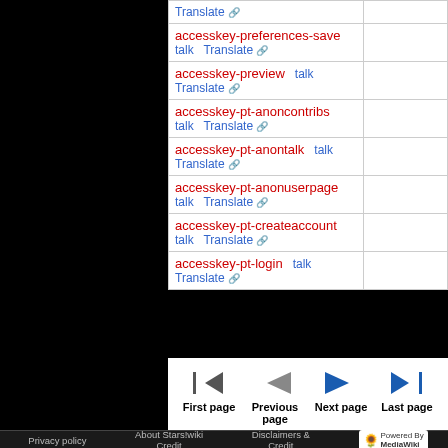| Message key / links |  |
| --- | --- |
| Translate ↗ |  |
| accesskey-preferences-save  talk  Translate ↗ |  |
| accesskey-preview  talk  Translate ↗ |  |
| accesskey-pt-anoncontribs  talk  Translate ↗ |  |
| accesskey-pt-anontalk  talk  Translate ↗ |  |
| accesskey-pt-anonuserpage  talk  Translate ↗ |  |
| accesskey-pt-createaccount  talk  Translate ↗ |  |
| accesskey-pt-login  talk  Translate ↗ |  |
First page  Previous page  Next page  Last page
Privacy policy  About Stars!wiki  Disclaimers & Credit  Powered by MediaWiki